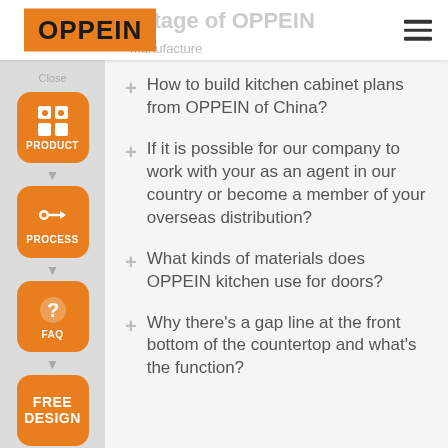OPPEIN
How to build kitchen cabinet plans from OPPEIN of China?
If it is possible for our company to work with your as an agent in our country or become a member of your overseas distribution?
What kinds of materials does OPPEIN kitchen use for doors?
Why there's a gap line at the front bottom of the countertop and what's the function?